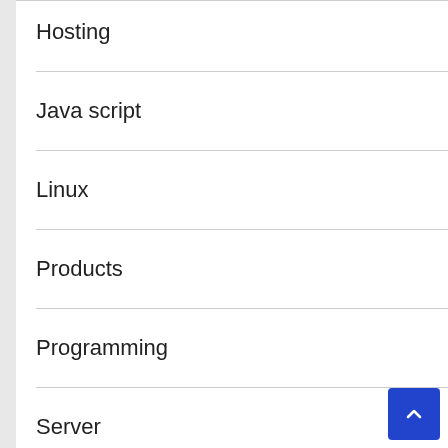Hosting
Java script
Linux
Products
Programming
Server
VPN
VPS